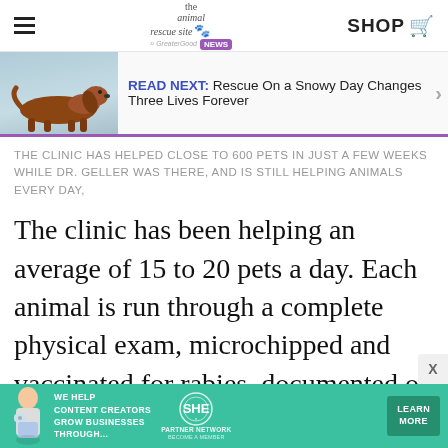the animal rescue site · GreaterGood NEWS | SHOP
[Figure (screenshot): Read Next banner with a photo of a brown dachshund dog on a light blue background, with text 'READ NEXT: Rescue On a Snowy Day Changes Three Lives Forever']
THE CLINIC HAS HELPED CLOSE TO 600 PETS IN JUST A FEW WEEKS WHILE DR. GELLER WAS THERE, AND IS STILL HELPING ANIMALS EVERY DAY,
The clinic has been helping an average of 15 to 20 pets a day. Each animal is run through a complete physical exam, microchipped and vaccinated for rabies, documented on the official log sheet, and provided a
[Figure (screenshot): Advertisement banner with teal/green background. Shows a woman with a laptop, text 'WE HELP CONTENT CREATORS GROW BUSINESSES THROUGH...', SHE PARTNER NETWORK BECOME A MEMBER logo, and a 'LEARN MORE' button.]